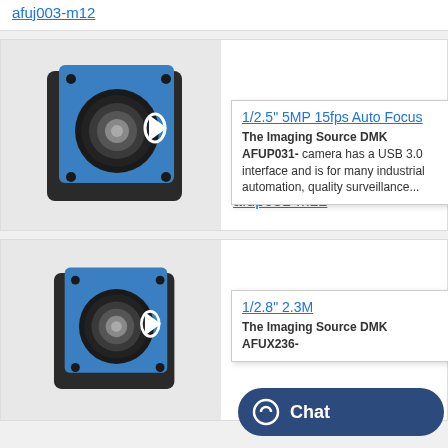afuj003-m12
[Figure (photo): Blue industrial camera with lens, The Imaging Source DMK AFUP031-M12]
1/2.5" 5MP 15fps Auto Focus... The Imaging Source DMK AFUP031- camera has a USB 3.0 interface and is for many industrial automation, quality surveillance...
The Imaging Source: dmk-afup031-m12
[Figure (photo): Blue industrial camera with lens, The Imaging Source DMK AFOX236]
1/2.8" 2.3M... The Imaging Source DMK AFUX236-